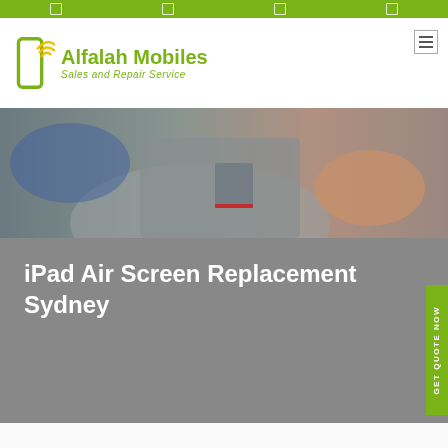Navigation bar with icons
[Figure (logo): Alfalah Mobiles logo with phone icon and wifi signal, text reads 'Alfalah Mobiles Sales and Repair Service' in green]
[Figure (photo): Hero image showing a technician in grey workwear repairing a device, close-up of torso and hands]
iPad Air Screen Replacement Sydney
[Figure (other): Green vertical tab on right side reading 'Get Quote Now']